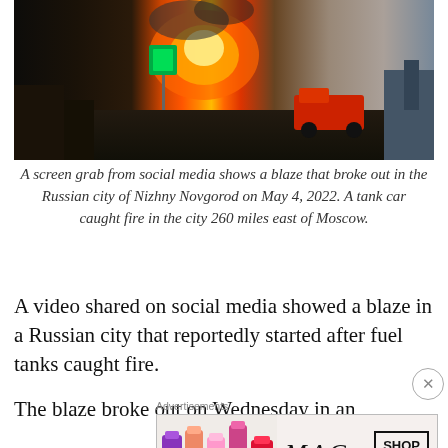[Figure (photo): Screen grab from social media showing a large blaze with an orange fireball in the Russian city of Nizhny Novgorod. Fire trucks and street signs visible in the dark scene.]
A screen grab from social media shows a blaze that broke out in the Russian city of Nizhny Novgorod on May 4, 2022. A tank car caught fire in the city 260 miles east of Moscow.
A video shared on social media showed a blaze in a Russian city that reportedly started after fuel tanks caught fire.
The blaze broke out on Wednesday in an